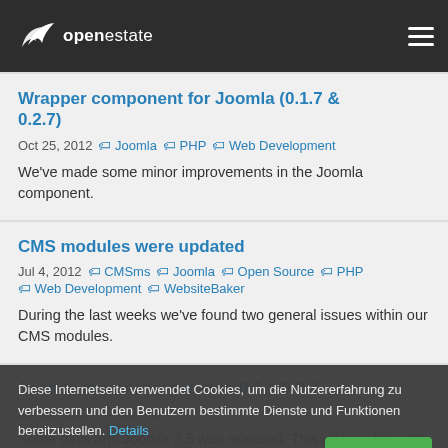openestate
Wrapper component for Joomla (0.1.7 & 0.2.7)
Oct 25, 2012  Joomla  PHP  Web Development
We've made some minor improvements in the Joomla component.
CMS modules were updated
Jul 4, 2012  CMSms  Joomla  Open Source  PHP  Web Development  WebsiteBaker
During the last weeks we've found two general issues within our CMS modules.
Joomla module updated to 0.1.1/0.2.1
Some days ago Joomla 2.5 was released. This release brought up an incompatibility with our Joomla
Diese Internetseite verwendet Cookies, um die Nutzererfahrung zu verbessern und den Benutzern bestimmte Dienste und Funktionen bereitzustellen. Details